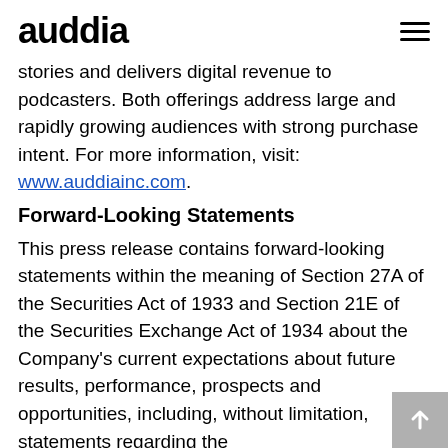auddia
stories and delivers digital revenue to podcasters. Both offerings address large and rapidly growing audiences with strong purchase intent. For more information, visit: www.auddiainc.com.
Forward-Looking Statements
This press release contains forward-looking statements within the meaning of Section 27A of the Securities Act of 1933 and Section 21E of the Securities Exchange Act of 1934 about the Company's current expectations about future results, performance, prospects and opportunities, including, without limitation, statements regarding the